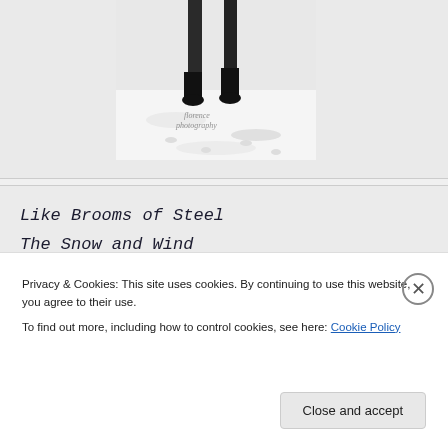[Figure (photo): A person in dark boots walking in snow, with a watermark reading 'florence photography'. Only lower legs and feet visible, snowy ground scene.]
Like Brooms of Steel
The Snow and Wind
Had swept the Winter Street ~ Emily Dicki
Privacy & Cookies: This site uses cookies. By continuing to use this website, you agree to their use.
To find out more, including how to control cookies, see here: Cookie Policy